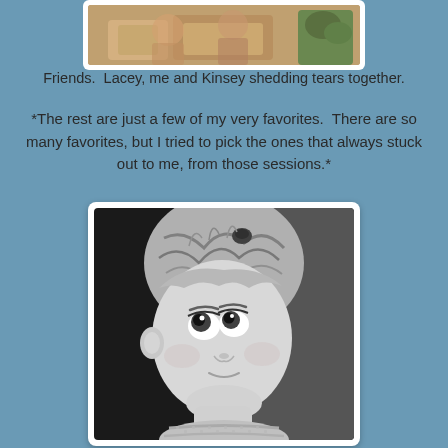[Figure (photo): Partial top photo showing people sitting together, cropped — only bottom portion visible]
Friends.  Lacey, me and Kinsey shedding tears together.
*The rest are just a few of my very favorites.  There are so many favorites, but I tried to pick the ones that always stuck out to me, from those sessions.*
[Figure (photo): Black and white close-up portrait of a young toddler girl looking upward, with wispy hair and a hair clip, wearing a knit sweater]